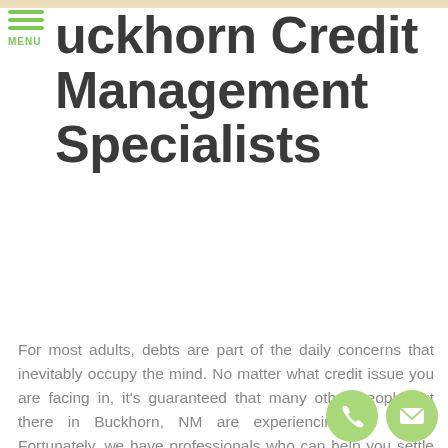MENU
Buckhorn Credit Management Specialists
For most adults, debts are part of the daily concerns that inevitably occupy the mind. No matter what credit issue you are facing in, it's guaranteed that many other people out there in Buckhorn, NM are experiencing the same. Fortunately, we have professionals who can help you settle your debts!
[Figure (illustration): Two green circle icon buttons at bottom right: a phone handset icon and an envelope/mail icon]